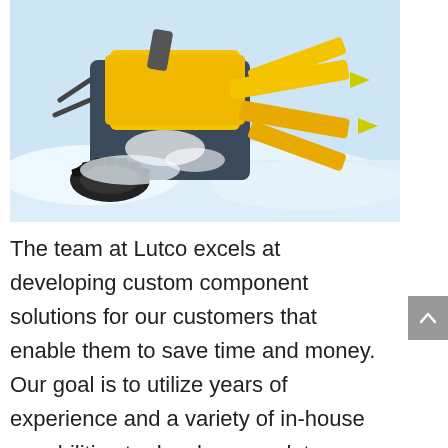[Figure (photo): Close-up photo of a yellow snow blower machine working through snow, showing yellow auger blades and black rubber tracks covered in snow against a bright snowy background.]
The team at Lutco excels at developing custom component solutions for our customers that enable them to save time and money. Our goal is to utilize years of experience and a variety of in-house capabilities to develop complete custom assemblies that can streamline your production schedule and reduce or eliminate unnecessary production costs